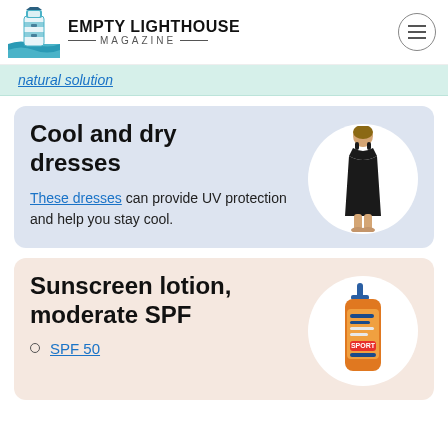EMPTY LIGHTHOUSE MAGAZINE
natural solution
Cool and dry dresses
These dresses can provide UV protection and help you stay cool.
[Figure (photo): Person in black dress, displayed in white circle]
Sunscreen lotion, moderate SPF
SPF 50
[Figure (photo): Orange sunscreen lotion bottle with pump, displayed in white circle]